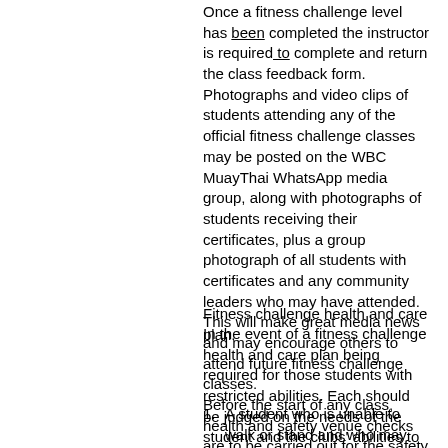Once a fitness challenge level has been completed the instructor is required to complete and return the class feedback form.
Photographs and video clips of students attending any of the official fitness challenge classes may be posted on the WBC MuayThai WhatsApp media group, along with photographs of students receiving their certificates, plus a group photograph of all students with certificates and any community leaders who may have attended.
This will make great media news and may encourage others to attend future fitness challenge classes.
Before the start of any class, health and safety venue checks are to be carried out for the safety and wellbeing of all those attending in accordance with local authority rulings.
Fitness challenge health and care plan.
In the event of a fitness challenge health and care plan being required for those students with restricted abilities. Each should be judged on the needs of the student and the clubs' abilities to support the student's needs.
A student who is unable to walk or stand and who may rely on a wheel chair may still be able to attend this fitness challenge, providing the venue has the correct facilities in order to offer the student a health and